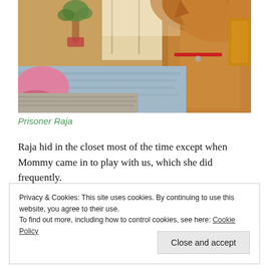[Figure (photo): A golden/orange cat with a red collar looking down at a bed with blue/grey blankets. A pink item is visible on the left side. There is a potted plant in the background near a window with bright light coming through.]
Prisoner Raja
Raja hid in the closet most of the time except when Mommy came in to play with us, which she did frequently.
Privacy & Cookies: This site uses cookies. By continuing to use this website, you agree to their use.
To find out more, including how to control cookies, see here: Cookie Policy
Close and accept